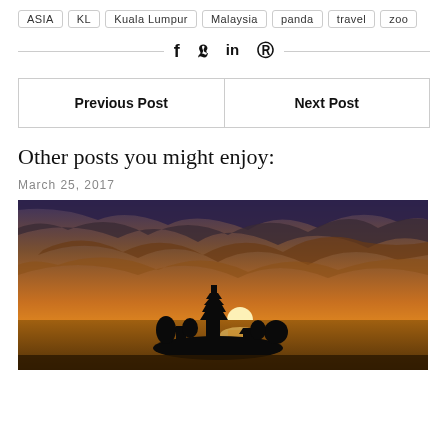ASIA
KL
Kuala Lumpur
Malaysia
panda
travel
zoo
f  y  in  ⊕ (social share icons)
| Previous Post | Next Post |
| --- | --- |
Other posts you might enjoy:
March 25, 2017
[Figure (photo): Sunset over water with silhouetted temple/pagoda structure and dramatic cloudy sky in warm orange and golden tones]